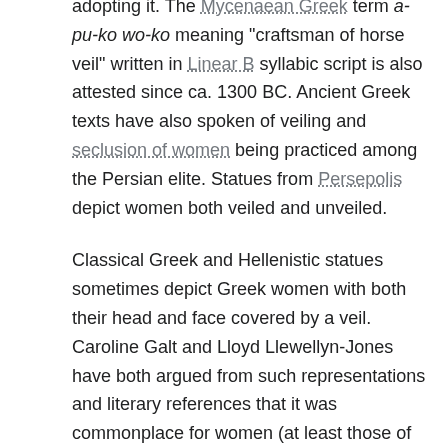adopting it. The Mycenaean Greek term a-pu-ko wo-ko meaning "craftsman of horse veil" written in Linear B syllabic script is also attested since ca. 1300 BC. Ancient Greek texts have also spoken of veiling and seclusion of women being practiced among the Persian elite. Statues from Persepolis depict women both veiled and unveiled.
Classical Greek and Hellenistic statues sometimes depict Greek women with both their head and face covered by a veil. Caroline Galt and Lloyd Llewellyn-Jones have both argued from such representations and literary references that it was commonplace for women (at least those of higher status) in ancient Greece to cover their hair and face in public.